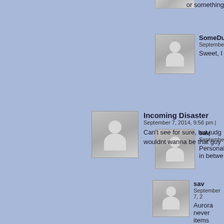or something
SomeDu
September
Sweet, I
sav
September
Personal
in betwe
Incoming Disaster
September 7, 2014, 9:56 pm
Can't see for sure, but judg
wouldnt wanna be that guy
sav
September 7, 2
Aurora never
items blockin
Anyone who
you're worse